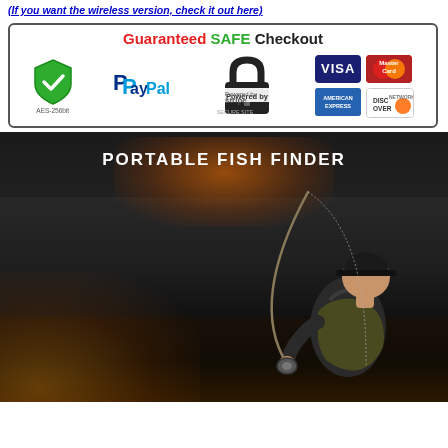(If you want the wireless version, check it out here)
[Figure (infographic): Guaranteed SAFE Checkout banner with payment icons: shield (AES-256bit), PayPal, Stripe secure site padlock, VISA, MasterCard, American Express, Discover Network]
[Figure (photo): Portable Fish Finder product promotional image showing a fisherman from behind casting a fishing rod, with dark dramatic sky and warm glowing light, text reads PORTABLE FISH FINDER]